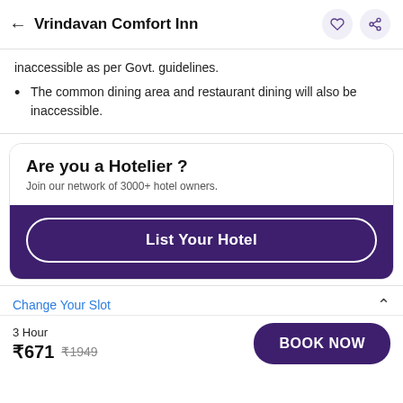← Vrindavan Comfort Inn
inaccessible as per Govt. guidelines.
The common dining area and restaurant dining will also be inaccessible.
Are you a Hotelier ?
Join our network of 3000+ hotel owners.
List Your Hotel
Change Your Slot
3 Hour
₹671  ₹1949
BOOK NOW